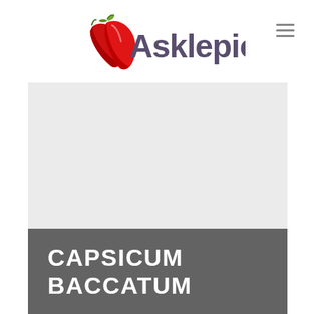[Figure (logo): Asklepio logo with two red chili peppers and stylized cursive text 'Asklepio' in dark purple/gray color]
[Figure (other): Large light gray placeholder image area for Capsicum Baccatum content]
CAPSICUM BACCATUM